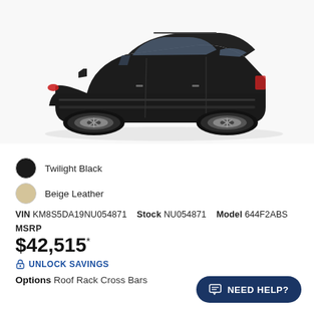[Figure (photo): Side profile photo of a black Hyundai Santa Fe SUV on white/light background]
Twilight Black
Beige Leather
VIN KM8S5DA19NU054871   Stock NU054871   Model 644F2ABS
MSRP
$42,515*
UNLOCK SAVINGS
Options Roof Rack Cross Bars
NEED HELP?